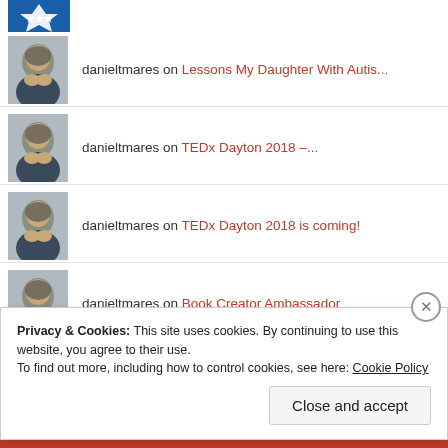[Figure (logo): Blue star/badge logo at top left]
danieltmares on Lessons My Daughter With Autis...
danieltmares on TEDx Dayton 2018 –...
danieltmares on TEDx Dayton 2018 is coming!
danieltmares on Book Creator Ambassador
Privacy & Cookies: This site uses cookies. By continuing to use this website, you agree to their use. To find out more, including how to control cookies, see here: Cookie Policy
Close and accept